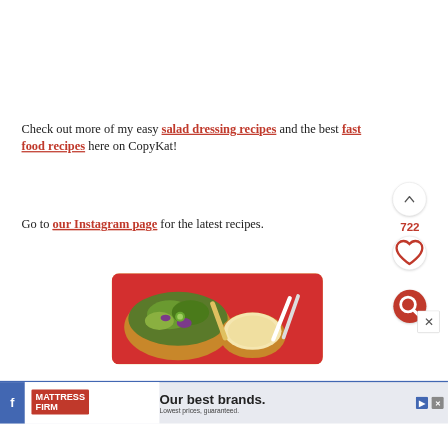Check out more of my easy salad dressing recipes and the best fast food recipes here on CopyKat!
Go to our Instagram page for the latest recipes.
[Figure (photo): Photo of a salad bowl with vegetables and a bowl of creamy dressing, on a red background with white utensils]
[Figure (screenshot): Advertisement banner for Mattress Firm showing 'Our best brands. Lowest prices, guaranteed.' with Facebook sharing icon and close button]